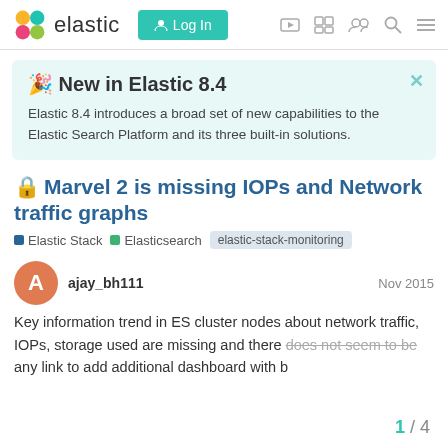elastic  Log In
🎉 New in Elastic 8.4
Elastic 8.4 introduces a broad set of new capabilities to the Elastic Search Platform and its three built-in solutions.
🔒 Marvel 2 is missing IOPs and Network traffic graphs
Elastic Stack   Elasticsearch   elastic-stack-monitoring
ajay_bh111   Nov 2015
Key information trend in ES cluster nodes about network traffic, IOPs, storage used are missing and there does not seem to be any link to add additional dashboard with b
1 / 4